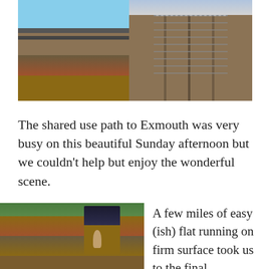[Figure (photo): Two outdoor photos side by side: left shows railway tracks near water with blue sky and vegetation; right shows a long wooden boardwalk/bridge receding into the distance.]
The shared use path to Exmouth was very busy on this beautiful Sunday afternoon but we couldn't help but enjoy the wonderful scene.
[Figure (photo): Close-up photo of a person's feet and lower legs running on a muddy dirt trail path, with grass on the left side.]
A few miles of easy (ish) flat running on firm surface took us to the final checkpoint on the approach to Exmouth was followed by an undulating run